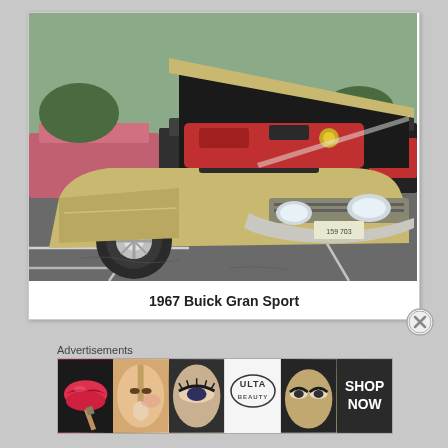[Figure (photo): 1967 Buick Gran Sport convertible with hood open, gold/tan color, shown at a car show in a parking lot. Engine compartment visible with red components. Other classic cars visible in background.]
1967 Buick Gran Sport
Advertisements
[Figure (photo): Ulta Beauty advertisement banner showing makeup imagery including lips, brushes, eye makeup, the Ulta logo, and a 'SHOP NOW' call to action.]